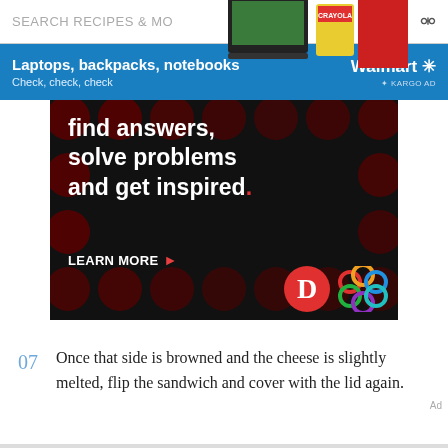[Figure (screenshot): Search bar with text SEARCH RECIPES & MO and a search icon, with a laptop and school supplies image overlapping from top right]
[Figure (advertisement): Walmart banner ad: blue background, text 'Laptops, backpacks, notebooks / Check, check, check', Walmart logo with spark, KARGO AD label]
[Figure (advertisement): Black background ad with dark red circle dots pattern. Text: 'find answers, solve problems and get inspired.' with red period. LEARN MORE button with arrow. D logo (red circle) and colorful interlocking rings logo at bottom right.]
07  Once that side is browned and the cheese is slightly melted, flip the sandwich and cover with the lid again.